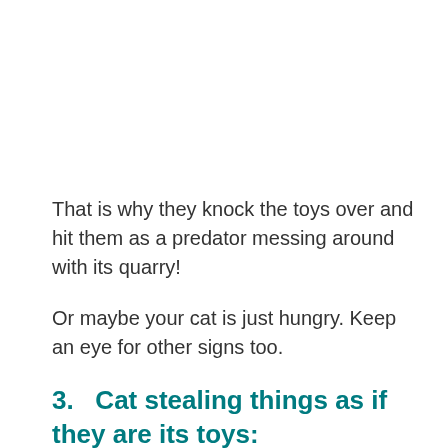That is why they knock the toys over and hit them as a predator messing around with its quarry!
Or maybe your cat is just hungry. Keep an eye for other signs too.
3.   Cat stealing things as if they are its toys: